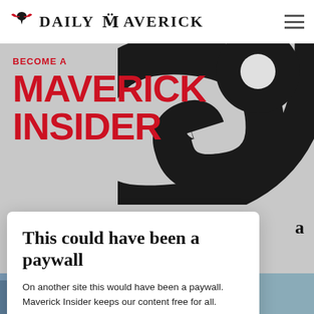DAILY MAVERICK
[Figure (logo): Daily Maverick logo with eagle emblem and site name in bold serif uppercase text, plus hamburger menu icon on right]
[Figure (illustration): Large black and white spiral/swirl graphic on grey background]
BECOME A MAVERICK INSIDER
This could have been a paywall
On another site this would have been a paywall. Maverick Insider keeps our content free for all.
Become an Insider
[Figure (photo): Partial photo visible at bottom of page showing people and building]